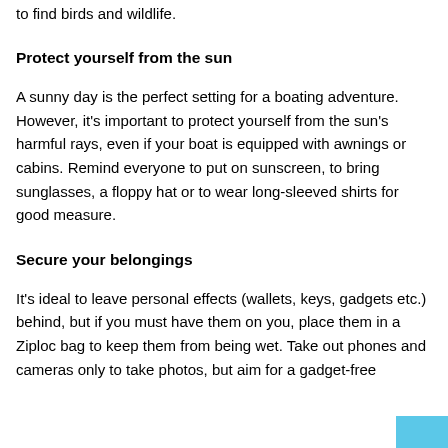to find birds and wildlife.
Protect yourself from the sun
A sunny day is the perfect setting for a boating adventure. However, it's important to protect yourself from the sun's harmful rays, even if your boat is equipped with awnings or cabins. Remind everyone to put on sunscreen, to bring sunglasses, a floppy hat or to wear long-sleeved shirts for good measure.
Secure your belongings
It's ideal to leave personal effects (wallets, keys, gadgets etc.) behind, but if you must have them on you, place them in a Ziploc bag to keep them from being wet. Take out phones and cameras only to take photos, but aim for a gadget-free